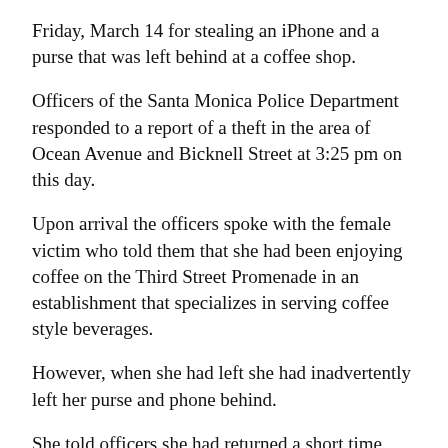Friday, March 14 for stealing an iPhone and a purse that was left behind at a coffee shop.
Officers of the Santa Monica Police Department responded to a report of a theft in the area of Ocean Avenue and Bicknell Street at 3:25 pm on this day.
Upon arrival the officers spoke with the female victim who told them that she had been enjoying coffee on the Third Street Promenade in an establishment that specializes in serving coffee style beverages.
However, when she had left she had inadvertently left her purse and phone behind.
She told officers she had returned a short time later to find that her phone and purse were both missing.
She told the officers that she had immediately hastened to The Apple Store on Third Street Promenade where the staff there had utilized the tracking system installed on her iPhone and discovered that it was in the area of…